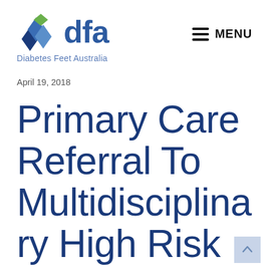[Figure (logo): Diabetes Feet Australia (DFA) logo with geometric blue and green diamond shapes on the left and 'dfa' text in blue on the right, with tagline 'Diabetes Feet Australia' below]
MENU
April 19, 2018
Primary Care Referral To Multidisciplinary High Risk